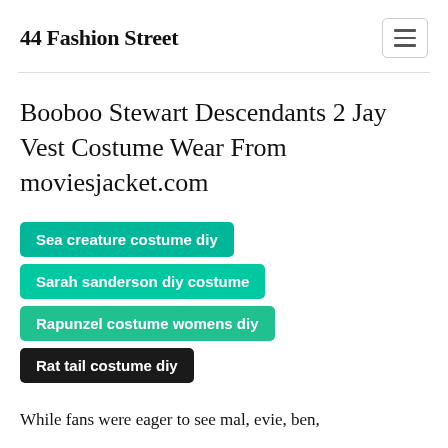44 Fashion Street
Booboo Stewart Descendants 2 Jay Vest Costume Wear From moviesjacket.com
Sea creature costume diy
Sarah sanderson diy costume
Rapunzel costume womens diy
Rat tail costume diy
While fans were eager to see mal, evie, ben,